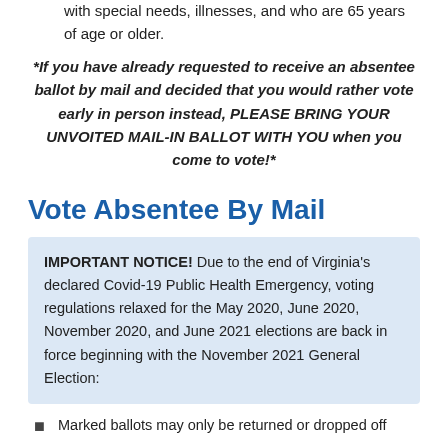with special needs, illnesses, and who are 65 years of age or older.
*If you have already requested to receive an absentee ballot by mail and decided that you would rather vote early in person instead, PLEASE BRING YOUR UNVOITED MAIL-IN BALLOT WITH YOU when you come to vote!*
Vote Absentee By Mail
IMPORTANT NOTICE!  Due to the end of Virginia's declared Covid-19 Public Health Emergency, voting regulations relaxed for the May 2020, June 2020, November 2020, and June 2021 elections are back in force beginning with the November 2021 General Election:
Marked ballots may only be returned or dropped off